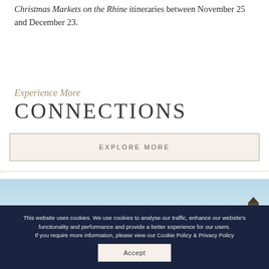Christmas Markets on the Rhine itineraries between November 25 and December 23.
Experience More CONNECTIONS
EXPLORE MORE
[Figure (photo): Exterior photo showing rooftops and a church spire against a blue sky]
This website uses cookies. We use cookies to analyse our traffic, enhance our website's functionality and performance and provide a better experience for our users.
If you require more information, please view our Cookie Policy & Privacy Policy
Accept